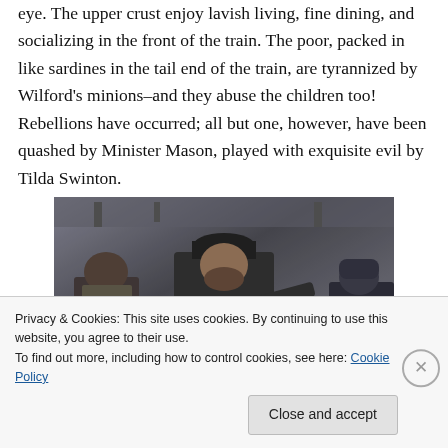eye. The upper crust enjoy lavish living, fine dining, and socializing in the front of the train. The poor, packed in like sardines in the tail end of the train, are tyrannized by Wilford's minions–and they abuse the children too! Rebellions have occurred; all but one, however, have been quashed by Minister Mason, played with exquisite evil by Tilda Swinton.
[Figure (photo): A dark, gritty movie still showing three figures in heavy winter clothing in a dim interior setting. The central figure, a bearded man wearing a black knit cap, is in the foreground appearing confrontational.]
Privacy & Cookies: This site uses cookies. By continuing to use this website, you agree to their use.
To find out more, including how to control cookies, see here: Cookie Policy
Close and accept